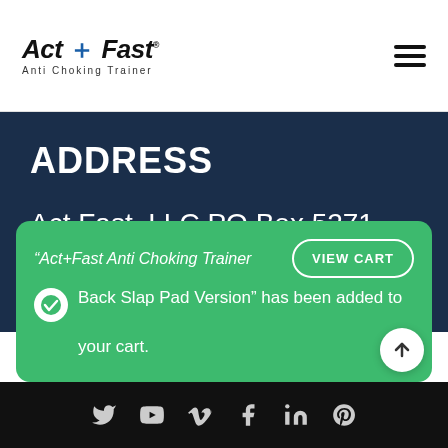[Figure (logo): Act+Fast Anti Choking Trainer logo with bold italic text and blue plus sign]
ADDRESS
Act Fast, LLC PO Box 5271
El Dorado Hills, CA 95762
“Act+Fast Anti Choking Trainer Back Slap Pad Version” has been added to your cart.
Social media icons: Twitter, YouTube, Vimeo, Facebook, LinkedIn, Pinterest